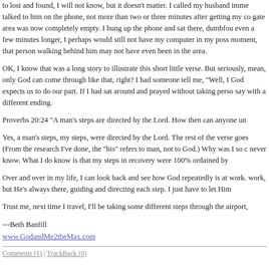to lost and found, I will not know, but it doesn't matter. I called my husband imme talked to him on the phone, not more than two or three minutes after getting my co gate area was now completely empty. I hung up the phone and sat there, dumbfou even a few minutes longer, I perhaps would still not have my computer in my poss moment, that person walking behind him may not have even been in the area.
OK, I know that was a long story to illustrate this short little verse. But seriously, mean, only God can come through like that, right? I had someone tell me, "Well, I God expects us to do our part. If I had sat around and prayed without taking perso say with a different ending.
Proverbs 20:24 "A man's steps are directed by the Lord. How then can anyone un
Yes, a man's steps, my steps, were directed by the Lord. The rest of the verse goes (From the research I've done, the "his" refers to man, not to God.) Why was I so c never know. What I do know is that my steps in recovery were 100% ordained by
Over and over in my life, I can look back and see how God repeatedly is at work. work, but He's always there, guiding and directing each step. I just have to let Him
Trust me, next time I travel, I'll be taking some different steps through the airport,
---Beth Banfill
www.GodandMe2theMax.com
Comments (1) | TrackBack (0)